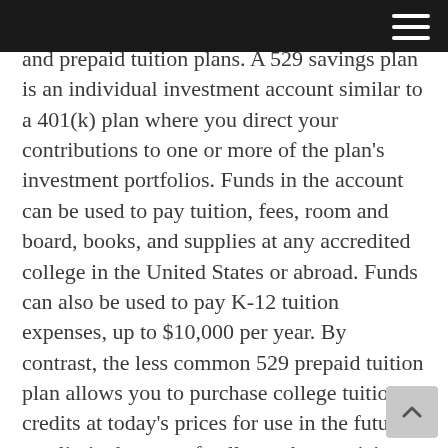and prepaid tuition plans. A 529 savings plan is an individual investment account similar to a 401(k) plan where you direct your contributions to one or more of the plan's investment portfolios. Funds in the account can be used to pay tuition, fees, room and board, books, and supplies at any accredited college in the United States or abroad. Funds can also be used to pay K-12 tuition expenses, up to $10,000 per year. By contrast, the less common 529 prepaid tuition plan allows you to purchase college tuition credits at today's prices for use in the future at a limited group of colleges that participate in the plan, typically in-state public colleges.